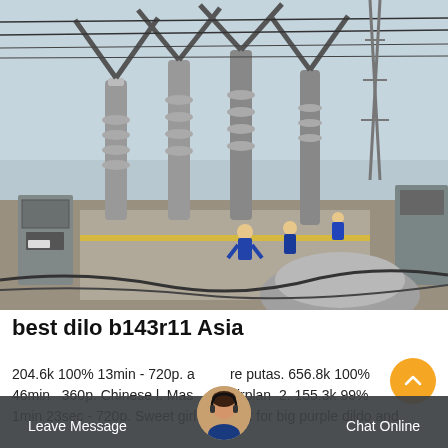[Figure (photo): Electrical substation with large circuit breakers or high-voltage switchgear equipment; workers in blue uniforms visible in background; overhead power lines and steel structures visible against overcast sky.]
best dilo b143r11 Asia
204.6k 100% 13min - 720p. a re putas. 656.8k 100% 46min - 360p. Chinese l. Masturbation Airplane. 2. 155.3k 99% 1min 23sec - 720p. Sweet girl gets wet for big purple dildo and
Leave Message   Chat Online